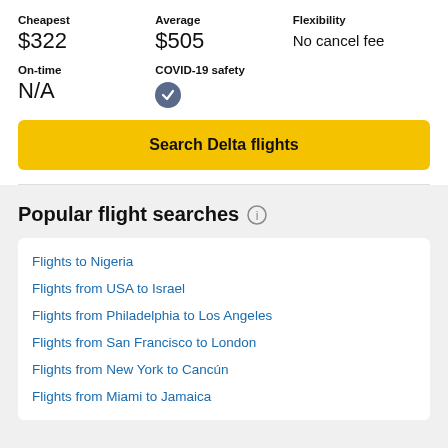Cheapest: $322 | Average: $505 | Flexibility: No cancel fee
On-time: N/A | COVID-19 safety: (checkmark icon)
Search Delta flights
Popular flight searches
Flights to Nigeria
Flights from USA to Israel
Flights from Philadelphia to Los Angeles
Flights from San Francisco to London
Flights from New York to Cancún
Flights from Miami to Jamaica